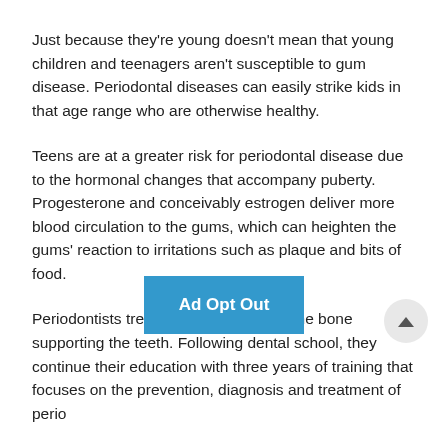Just because they're young doesn't mean that young children and teenagers aren't susceptible to gum disease. Periodontal diseases can easily strike kids in that age range who are otherwise healthy.
Teens are at a greater risk for periodontal disease due to the hormonal changes that accompany puberty. Progesterone and conceivably estrogen deliver more blood circulation to the gums, which can heighten the gums' reaction to irritations such as plaque and bits of food.
Periodontists treat only the gums and the bone supporting the teeth. Following dental school, they continue their education with three years of training that focuses on the prevention, diagnosis and treatment of perio[d...]
At the office of Gre[...] Center, we pride
[Figure (other): Blue 'Ad Opt Out' overlay button partially covering text, with a circular scroll-up button to the right]